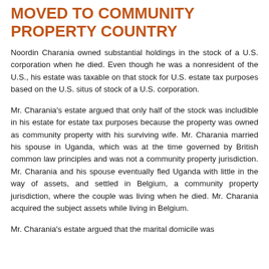MOVED TO COMMUNITY PROPERTY COUNTRY
Noordin Charania owned substantial holdings in the stock of a U.S. corporation when he died. Even though he was a nonresident of the U.S., his estate was taxable on that stock for U.S. estate tax purposes based on the U.S. situs of stock of a U.S. corporation.
Mr. Charania's estate argued that only half of the stock was includible in his estate for estate tax purposes because the property was owned as community property with his surviving wife. Mr. Charania married his spouse in Uganda, which was at the time governed by British common law principles and was not a community property jurisdiction. Mr. Charania and his spouse eventually fled Uganda with little in the way of assets, and settled in Belgium, a community property jurisdiction, where the couple was living when he died. Mr. Charania acquired the subject assets while living in Belgium.
Mr. Charania's estate argued that the marital domicile was